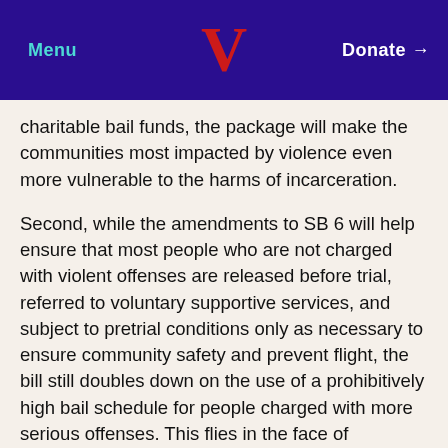Menu  V  Donate →
charitable bail funds, the package will make the communities most impacted by violence even more vulnerable to the harms of incarceration.
Second, while the amendments to SB 6 will help ensure that most people who are not charged with violent offenses are released before trial, referred to voluntary supportive services, and subject to pretrial conditions only as necessary to ensure community safety and prevent flight, the bill still doubles down on the use of a prohibitively high bail schedule for people charged with more serious offenses. This flies in the face of constitutional due process and fairness. Judges should be allowed to carefully consider the individual circumstances of each case and make findings on the record after a meaningful bail hearing.